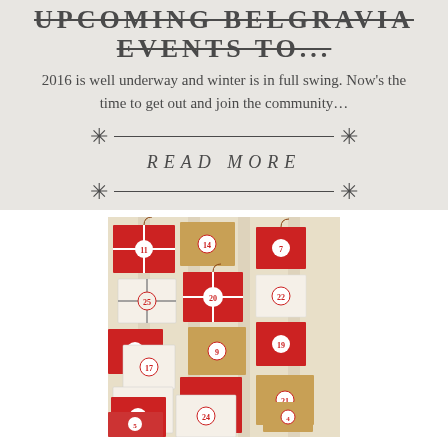UPCOMING BELGRAVIA EVENTS TO...
2016 is well underway and winter is in full swing. Now's the time to get out and join the community...
READ MORE
[Figure (photo): Photograph of numbered advent calendar wrapped packages/parcels in red, white, and kraft paper hanging on a rack, styled as a Christmas countdown calendar display.]